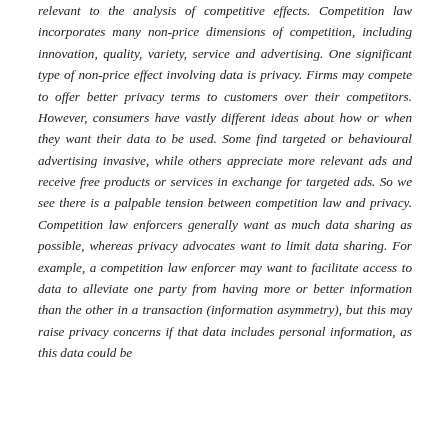relevant to the analysis of competitive effects. Competition law incorporates many non-price dimensions of competition, including innovation, quality, variety, service and advertising. One significant type of non-price effect involving data is privacy. Firms may compete to offer better privacy terms to customers over their competitors. However, consumers have vastly different ideas about how or when they want their data to be used. Some find targeted or behavioural advertising invasive, while others appreciate more relevant ads and receive free products or services in exchange for targeted ads. So we see there is a palpable tension between competition law and privacy. Competition law enforcers generally want as much data sharing as possible, whereas privacy advocates want to limit data sharing. For example, a competition law enforcer may want to facilitate access to data to alleviate one party from having more or better information than the other in a transaction (information asymmetry), but this may raise privacy concerns if that data includes personal information, as this data could be